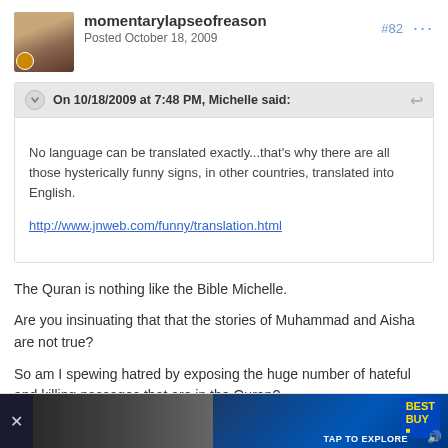momentarylapseofreason
Posted October 18, 2009
#82
On 10/18/2009 at 7:48 PM, Michelle said:
No language can be translated exactly...that's why there are all those hysterically funny signs, in other countries, translated into English.
http://www.jnweb.com/funny/translation.html
The Quran is nothing like the Bible Michelle.

Are you insinuating that that the stories of Muhammad and Aisha are not true?

So am I spewing hatred by exposing the huge number of hateful and killing passages that are in the Quran?
[Figure (screenshot): Advertisement banner at the bottom showing Best Buy ad with 'TAP TO EXPLORE' text]